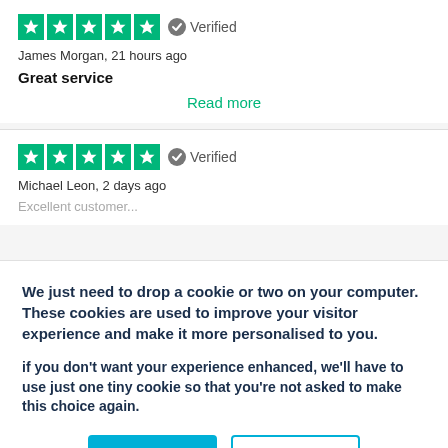[Figure (other): Five green star rating boxes with white stars, followed by a grey verified badge icon and 'Verified' text]
James Morgan, 21 hours ago
Great service
Read more
[Figure (other): Five green star rating boxes with white stars, followed by a grey verified badge icon and 'Verified' text]
Michael Leon, 2 days ago
We just need to drop a cookie or two on your computer. These cookies are used to improve your visitor experience and make it more personalised to you.
if you don't want your experience enhanced, we'll have to use just one tiny cookie so that you're not asked to make this choice again.
Accept
Decline